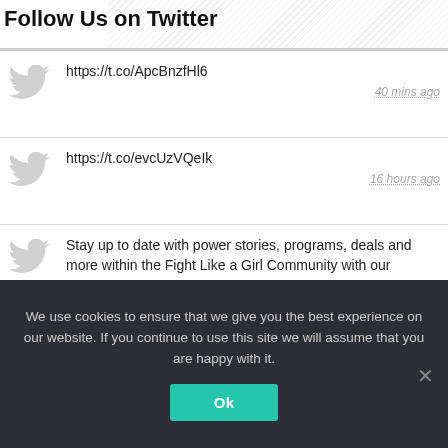Follow Us on Twitter
https://t.co/ApcBnzfHl6
40 mins ago
https://t.co/evcUzVQeIk
16 hours ago
Stay up to date with power stories, programs, deals and more within the Fight Like a Girl Community with our monthl… https://t.co/h9d9lDpqtK
18 hours ago
We use cookies to ensure that we give you the best experience on our website. If you continue to use this site we will assume that you are happy with it.
Ok